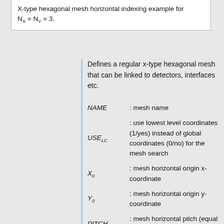X-type hexagonal mesh horizontal indexing example for NX = NY = 3.
Defines a regular x-type hexagonal mesh that can be linked to detectors, interfaces etc.
NAME : mesh name
USE_LC : use lowest level coordinates (1/yes) instead of global coordinates (0/no) for the mesh search
X_0 : mesh horizontal origin x-coordinate
Y_0 : mesh horizontal origin y-coordinate
PITCH : mesh horizontal pitch (equal to cell flat-to-flat width)
Z_MIN : mesh lower z boundary